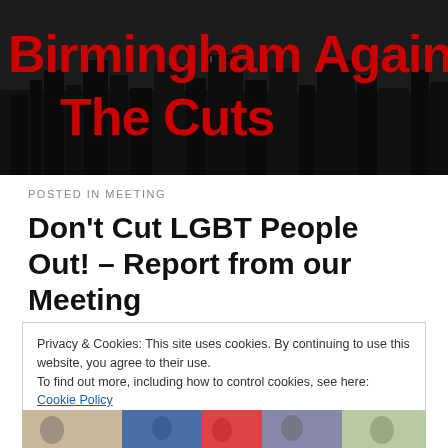[Figure (illustration): Birmingham Against The Cuts website header banner with black-and-white Birmingham city skyline background and bold red text reading 'Birmingham Against The Cuts']
POSTED IN MEETING
Don't Cut LGBT People Out! – Report from our Meeting
Privacy & Cookies: This site uses cookies. By continuing to use this website, you agree to their use.
To find out more, including how to control cookies, see here: Cookie Policy
[Figure (photo): Bottom strip showing a partial photograph of people at a meeting or protest]